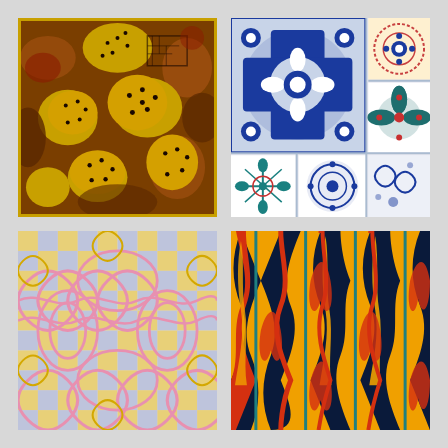[Figure (illustration): African-style fabric pattern with yellow and brown dotted shapes on dark brown background]
[Figure (illustration): Portuguese azulejo tile collage with blue and white floral patterns on white/grey background]
[Figure (illustration): Symmetrical ornamental pattern with pink and yellow scrollwork on white background with blue checkered accents]
[Figure (illustration): Ikat-style geometric pattern with red, orange, teal flame shapes on dark navy background]